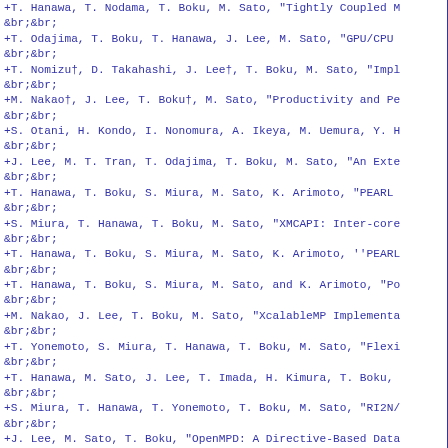+T. Hanawa, T. Nodama, T. Boku, M. Sato, "Tightly Coupled M
+T. Odajima, T. Boku, T. Hanawa, J. Lee, M. Sato, "GPU/CPU
+T. Nomizu†, D. Takahashi, J. Lee†, T. Boku, M. Sato, "Impl
+M. Nakao†, J. Lee, T. Boku†, M. Sato, "Productivity and Pe
+S. Otani, H. Kondo, I. Nonomura, A. Ikeya, M. Uemura, Y. H
+J. Lee, M. T. Tran, T. Odajima, T. Boku, M. Sato, "An Exte
+T. Hanawa, T. Boku, S. Miura, M. Sato, K. Arimoto, "PEARL
+S. Miura, T. Hanawa, T. Boku, M. Sato, "XMCAPI: Inter-core
+T. Hanawa, T. Boku, S. Miura, M. Sato, K. Arimoto, ''PEARL
+T. Hanawa, T. Boku, S. Miura, M. Sato, and K. Arimoto, "Po
+M. Nakao, J. Lee, T. Boku, M. Sato, "XcalableMP Implementa
+T. Yonemoto, S. Miura, T. Hanawa, T. Boku, M. Sato, "Flexi
+T. Hanawa, M. Sato, J. Lee, T. Imada, H. Kimura, T. Boku,
+S. Miura, T. Hanawa, T. Yonemoto, T. Boku, M. Sato, "RI2N/
+J. Lee, M. Sato, T. Boku, "OpenMPD: A Directive-Based Data
+S. Miura, T. Boku, T. Okamoto, T. Hanawa, "A Dynamic Routi